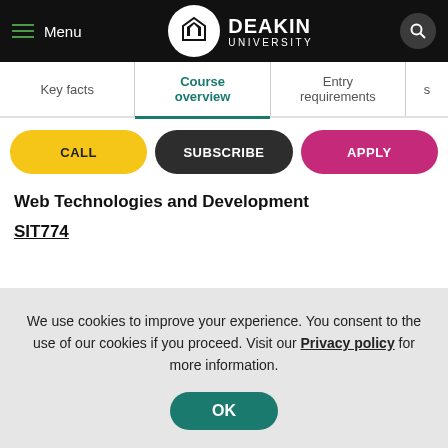Menu | DEAKIN UNIVERSITY
Course overview
Key facts
Course overview
Entry requirements
CALL
SUBSCRIBE
APPLY
Web Technologies and Development
SIT774
We use cookies to improve your experience. You consent to the use of our cookies if you proceed. Visit our Privacy policy for more information.
OK